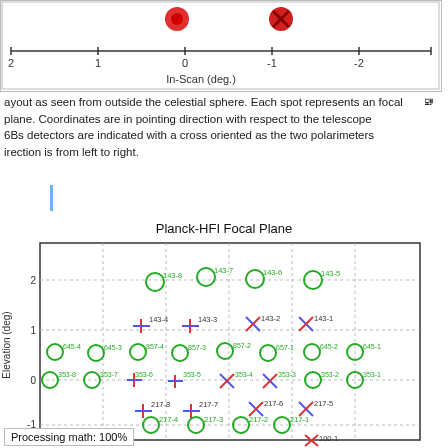[Figure (other): Top portion of a focal plane diagram showing two red circular detector markers on a plot with In-Scan (deg.) x-axis ranging from 2 to -2]
ayout as seen from outside the celestial sphere. Each spot represents an focal plane. Coordinates are in pointing direction with respect to the telescope 6Bs detectors are indicated with a cross oriented as the two polarimeters irection is from left to right.
[Figure (other): Planck-HFI Focal Plane diagram showing detector layout. Y-axis is Elevation (deg) from about -1 to 2. X-axis implied in-scan direction. Green circles represent bolometer detectors labeled 143-8, 143-7, 143-6, 143-5, 645-4, 645-3, 857-4, 857-3, 857-2, 657-1, 645-2, 645-1, 353-8, 353-7, 353-6, 353-5, 353-2, 353-1, 217-4, 217-3, 217-2, 217-1. Cross symbols in red and blue represent polarimeter detectors labeled 143-4, 143-3, 143-2, 143-1, 217-8, 217-7, 217-6, 217-5, 353-4, 353-3, 100-1 visible at bottom. Title: Planck-HFI Focal Plane]
Processing math: 100%